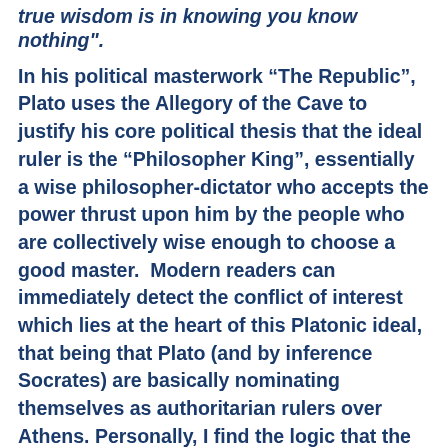true wisdom is in knowing you know nothing".
In his political masterwork “The Republic”, Plato uses the Allegory of the Cave to justify his core political thesis that the ideal ruler is the “Philosopher King”, essentially a wise philosopher-dictator who accepts the power thrust upon him by the people who are collectively wise enough to choose a good master.  Modern readers can immediately detect the conflict of interest which lies at the heart of this Platonic ideal, that being that Plato (and by inference Socrates) are basically nominating themselves as authoritarian rulers over Athens. Personally, I find the logic that the Cave allegory justifies the philosopher-dictator as the ideal leader both a bit contrived and circular. However,